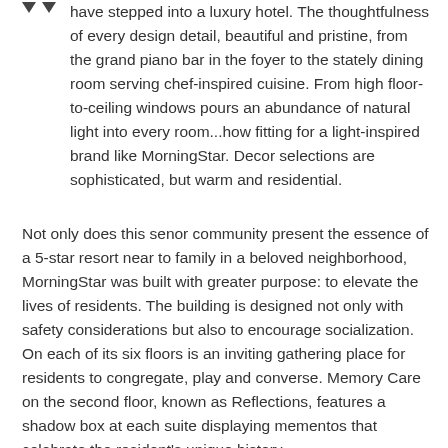▼ ▼ have stepped into a luxury hotel. The thoughtfulness of every design detail, beautiful and pristine, from the grand piano bar in the foyer to the stately dining room serving chef-inspired cuisine. From high floor-to-ceiling windows pours an abundance of natural light into every room...how fitting for a light-inspired brand like MorningStar. Decor selections are sophisticated, but warm and residential.
Not only does this senor community present the essence of a 5-star resort near to family in a beloved neighborhood, MorningStar was built with greater purpose: to elevate the lives of residents. The building is designed not only with safety considerations but also to encourage socialization. On each of its six floors is an inviting gathering place for residents to congregate, play and converse. Memory Care on the second floor, known as Reflections, features a shadow box at each suite displaying mementos that celebrate the resident's unique history.